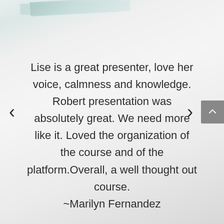[Figure (photo): Light grey and white blurred background with teal/mint colored diagonal accent element in top portion of image]
Lise is a great presenter, love her voice, calmness and knowledge. Robert presentation was absolutely great. We need more like it. Loved the organization of the course and of the platform.Overall, a well thought out course. ~Marilyn Fernandez